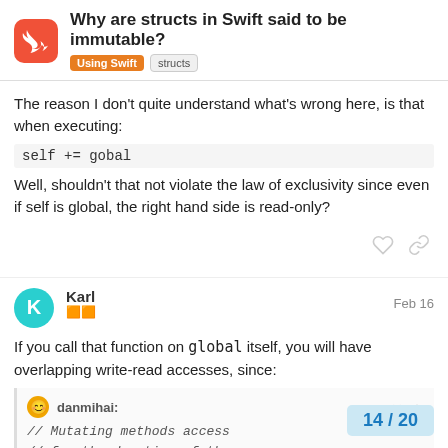Why are structs in Swift said to be immutable? | Using Swift | structs
The reason I don't quite understand what's wrong here, is that when executing:
Well, shouldn't that not violate the law of exclusivity since even if self is global, the right hand side is read-only?
Karl Feb 16
If you call that function on global itself, you will have overlapping write-read accesses, since:
danmihai:
// Mutating methods access
// for the duration of the